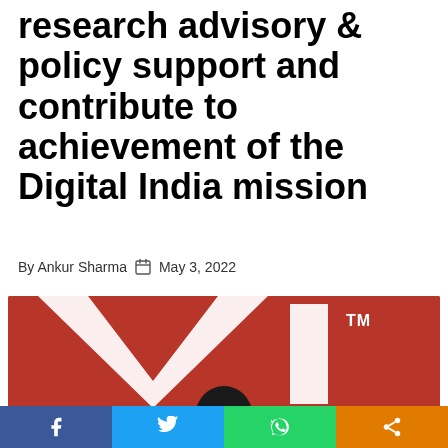research advisory & policy support and contribute to achievement of the Digital India mission
By Ankur Sharma  May 3, 2022
[Figure (photo): Photo showing a large Vi (Vodafone Idea) logo on a red background wall with TM mark, and a person partially visible at the bottom center.]
[Figure (infographic): Social media share bar with Facebook (blue), Twitter (light blue), WhatsApp (green), and Share (orange) buttons.]